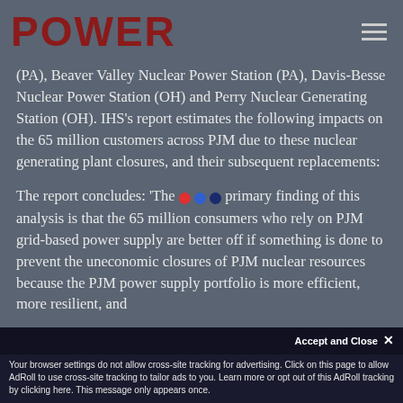POWER
(PA), Beaver Valley Nuclear Power Station (PA), Davis-Besse Nuclear Power Station (OH) and Perry Nuclear Generating Station (OH). IHS's report estimates the following impacts on the 65 million customers across PJM due to these nuclear generating plant closures, and their subsequent replacements:
The report concludes: 'The primary finding of this analysis is that the 65 million consumers who rely on PJM grid-based power supply are better off if something is done to prevent the uneconomic closures of PJM nuclear resources because the PJM power supply portfolio is more efficient, more resilient, and
Accept and Close ✕
Your browser settings do not allow cross-site tracking for advertising. Click on this page to allow AdRoll to use cross-site tracking to tailor ads to you. Learn more or opt out of this AdRoll tracking by clicking here. This message only appears once.